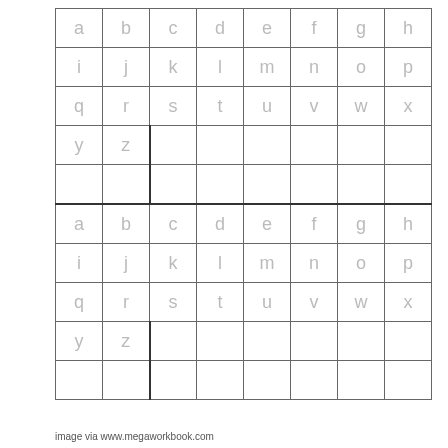| a | b | c | d | e | f | g | h |
| i | j | k | l | m | n | o | p |
| q | r | s | t | u | v | w | x |
| y | z |  |  |  |  |  |  |
|  |  |  |  |  |  |  |  |
| a | b | c | d | e | f | g | h |
| i | j | k | l | m | n | o | p |
| q | r | s | t | u | v | w | x |
| y | z |  |  |  |  |  |  |
|  |  |  |  |  |  |  |  |
image via www.megaworkbook.com